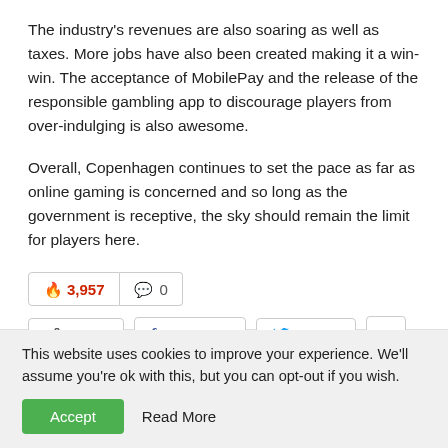The industry's revenues are also soaring as well as taxes. More jobs have also been created making it a win-win. The acceptance of MobilePay and the release of the responsible gambling app to discourage players from over-indulging is also awesome.
Overall, Copenhagen continues to set the pace as far as online gaming is concerned and so long as the government is receptive, the sky should remain the limit for players here.
🔥 3,957   💬 0
⋘ Share   f Facebook   🐦 Twitter   +
This website uses cookies to improve your experience. We'll assume you're ok with this, but you can opt-out if you wish.
Accept   Read More